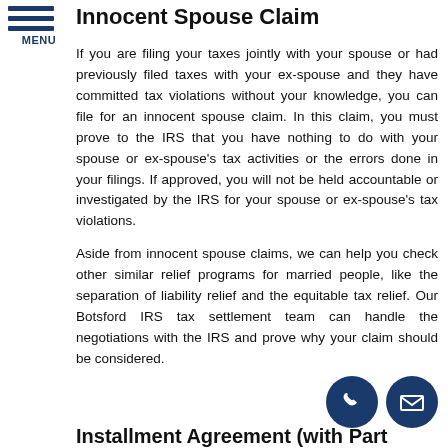MENU
Innocent Spouse Claim
If you are filing your taxes jointly with your spouse or had previously filed taxes with your ex-spouse and they have committed tax violations without your knowledge, you can file for an innocent spouse claim. In this claim, you must prove to the IRS that you have nothing to do with your spouse or ex-spouse's tax activities or the errors done in your filings. If approved, you will not be held accountable or investigated by the IRS for your spouse or ex-spouse's tax violations.
Aside from innocent spouse claims, we can help you check other similar relief programs for married people, like the separation of liability relief and the equitable tax relief. Our Botsford IRS tax settlement team can handle the negotiations with the IRS and prove why your claim should be considered.
Installment Agreement (with Part...